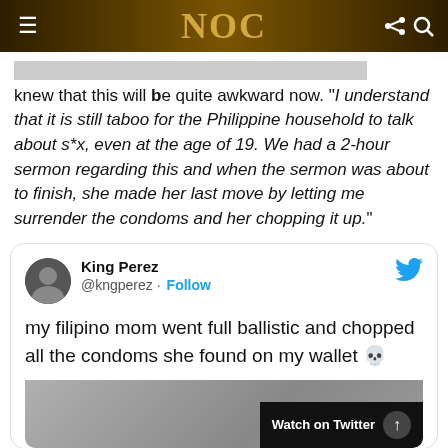NOC
King Perez started feeling uncomfortable as he knew that this will be quite awkward now. "I understand that it is still taboo for the Philippine household to talk about s*x, even at the age of 19. We had a 2-hour sermon regarding this and when the sermon was about to finish, she made her last move by letting me surrender the condoms and her chopping it up."
[Figure (screenshot): Embedded tweet from @kngperez (King Perez): 'my filipino mom went full ballistic and chopped all the condoms she found on my wallet 💀' with a Twitter bird icon and a Watch on Twitter button overlay on an image.]